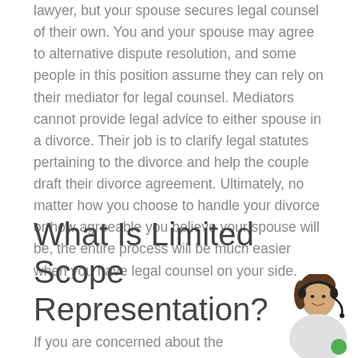lawyer, but your spouse secures legal counsel of their own. You and your spouse may agree to alternative dispute resolution, and some people in this position assume they can rely on their mediator for legal counsel. Mediators cannot provide legal advice to either spouse in a divorce. Their job is to clarify legal statutes pertaining to the divorce and help the couple draft their divorce agreement. Ultimately, no matter how you choose to handle your divorce or how agreeable you believe your spouse will be, the entire process will be much easier when you have legal counsel on your side.
What Is Limited Scope Representation?
If you are concerned about the potential cost of your
[Figure (photo): Woman with headset smiling, customer service representative photo]